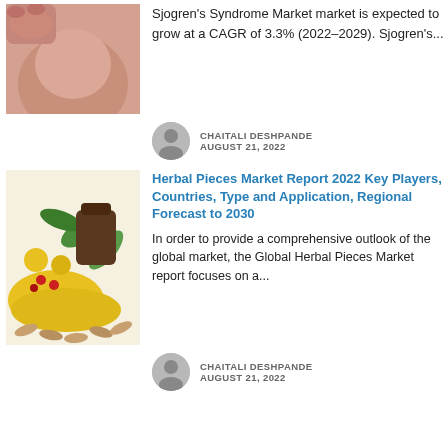[Figure (photo): Close-up photo of a person's back/neck area, possibly showing acupuncture or medical treatment]
Sjogren's Syndrome Market market is expected to grow at a CAGR of 3.3% (2022-2029). Sjogren's...
CHAITALI DESHPANDE
AUGUST 21, 2022
[Figure (photo): Photo of herbal pieces including colorful dried herbs, green leaves, and capsules/supplement pills spilling from a jar]
Herbal Pieces Market Report 2022 Key Players, Countries, Type and Application, Regional Forecast to 2030
In order to provide a comprehensive outlook of the global market, the Global Herbal Pieces Market report focuses on a...
CHAITALI DESHPANDE
AUGUST 21, 2022